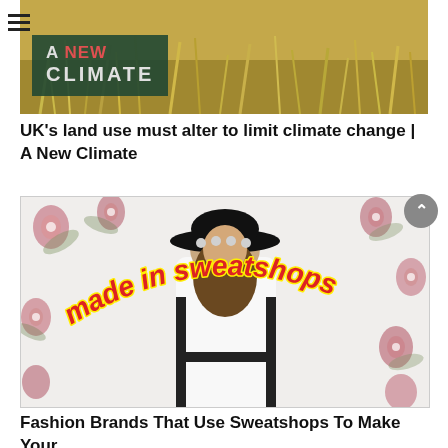[Figure (photo): Landscape photo with golden grasses in background. Dark green banner overlay reads 'A NEW CLIMATE' with 'NEW' in red and 'CLIMATE' in white letters. Hamburger menu icon top left.]
UK’s land use must alter to limit climate change | A New Climate
[Figure (photo): Fashion photo of a woman wearing a black wide-brim hat and white outfit with black accents, posed against a floral background. Red and yellow text arcs across the image reading 'made in sweatshops'.]
Fashion Brands That Use Sweatshops To Make Your